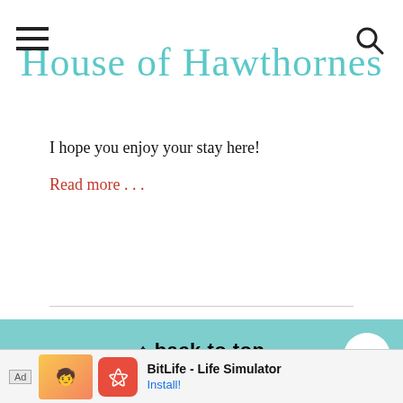House of Hawthornes
I hope you enjoy your stay here!
Read more . . .
↑ back to top
ABOUT
[Figure (screenshot): Ad banner: BitLife - Life Simulator with Install button]